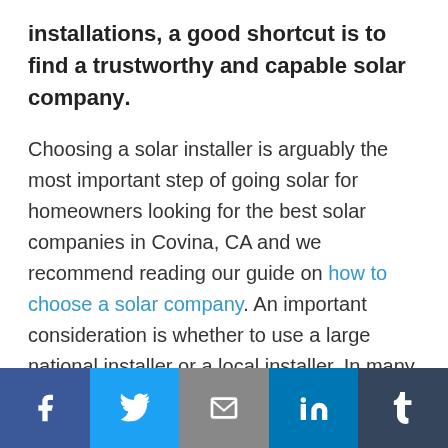installations, a good shortcut is to find a trustworthy and capable solar company. Choosing a solar installer is arguably the most important step of going solar for homeowners looking for the best solar companies in Covina, CA and we recommend reading our guide on how to choose a solar company. An important consideration is whether to use a large national installer or a local installer. In many
Facebook | Twitter | Email | LinkedIn | Tumblr